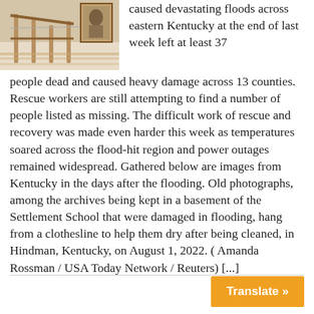[Figure (photo): Interior photo showing wooden stair railings and a framed picture on the wall, likely a flood-damaged home in Kentucky]
caused devastating floods across eastern Kentucky at the end of last week left at least 37 people dead and caused heavy damage across 13 counties. Rescue workers are still attempting to find a number of people listed as missing. The difficult work of rescue and recovery was made even harder this week as temperatures soared across the flood-hit region and power outages remained widespread. Gathered below are images from Kentucky in the days after the flooding. Old photographs, among the archives being kept in a basement of the Settlement School that were damaged in flooding, hang from a clothesline to help them dry after being cleaned, in Hindman, Kentucky, on August 1, 2022. ( Amanda Rossman / USA Today Network / Reuters) [...]